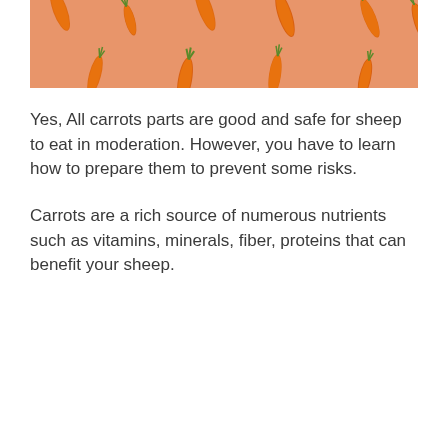[Figure (photo): Multiple orange carrots arranged on a salmon/peach colored background, viewed from above.]
Yes, All carrots parts are good and safe for sheep to eat in moderation. However, you have to learn how to prepare them to prevent some risks.
Carrots are a rich source of numerous nutrients such as vitamins, minerals, fiber, proteins that can benefit your sheep.